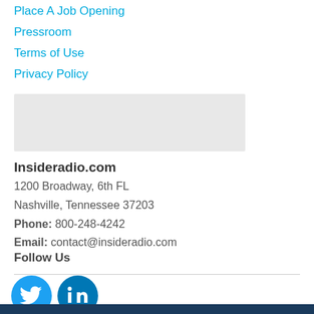Place A Job Opening
Pressroom
Terms of Use
Privacy Policy
[Figure (other): Gray placeholder/advertisement box]
Insideradio.com
1200 Broadway, 6th FL
Nashville, Tennessee 37203
Phone: 800-248-4242
Email: contact@insideradio.com
Follow Us
[Figure (other): Twitter and LinkedIn social media icon circles in blue]